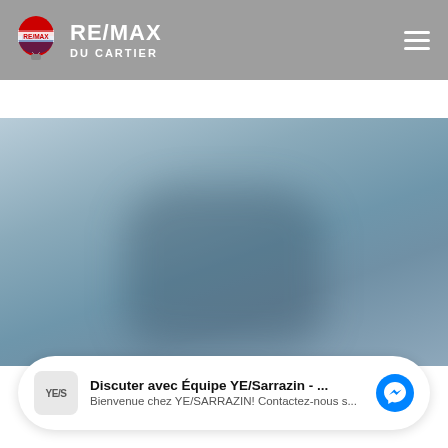[Figure (logo): RE/MAX Du Cartier logo with balloon icon and brand name in white on grey header bar]
[Figure (photo): Blurred blue-grey background photo, possibly sky or exterior, with dark blurred shadow shape in center-bottom]
Discuter avec Équipe YE/Sarrazin - ...
Bienvenue chez YE/SARRAZIN! Contactez-nous s...